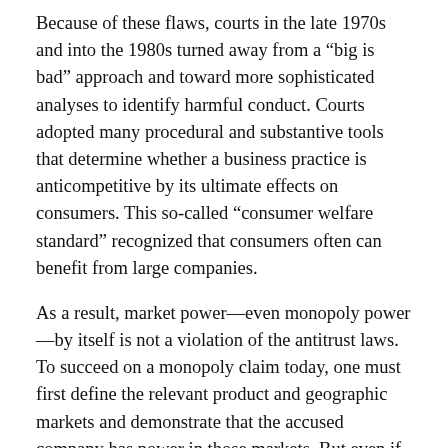Because of these flaws, courts in the late 1970s and into the 1980s turned away from a “big is bad” approach and toward more sophisticated analyses to identify harmful conduct. Courts adopted many procedural and substantive tools that determine whether a business practice is anticompetitive by its ultimate effects on consumers. This so-called “consumer welfare standard” recognized that consumers often can benefit from large companies.
As a result, market power—even monopoly power—by itself is not a violation of the antitrust laws. To succeed on a monopoly claim today, one must first define the relevant product and geographic markets and demonstrate that the accused company has power in those markets. But even if the accused company has a 100 percent share of the defined market, that alone is not sufficient to violate the